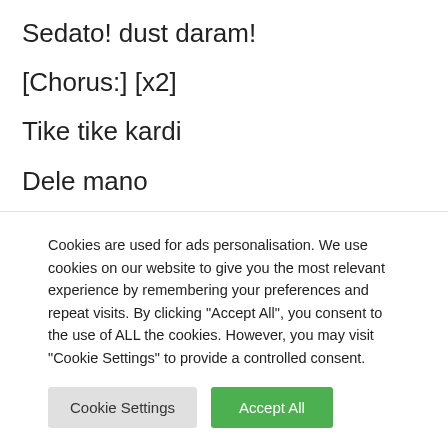Sedato! dust daram!
[Chorus:] [x2]
Tike tike kardi
Dele mano
Sarbe saram nazar dige dige mikhamet
Tike tike bordi dele mano
Dar hedaram kardi toro toro mikhamet
Cookies are used for ads personalisation. We use cookies on our website to give you the most relevant experience by remembering your preferences and repeat visits. By clicking “Accept All”, you consent to the use of ALL the cookies. However, you may visit “Cookie Settings” to provide a controlled consent.